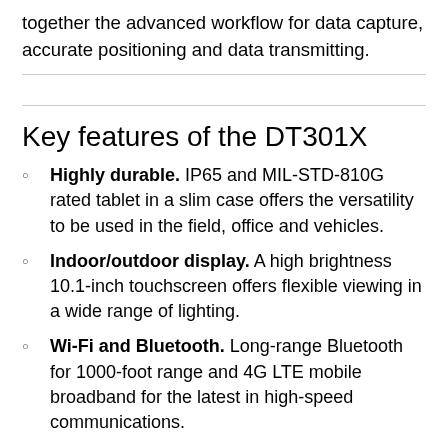together the advanced workflow for data capture, accurate positioning and data transmitting.
Key features of the DT301X
Highly durable. IP65 and MIL-STD-810G rated tablet in a slim case offers the versatility to be used in the field, office and vehicles.
Indoor/outdoor display. A high brightness 10.1-inch touchscreen offers flexible viewing in a wide range of lighting.
Wi-Fi and Bluetooth. Long-range Bluetooth for 1000-foot range and 4G LTE mobile broadband for the latest in high-speed communications.